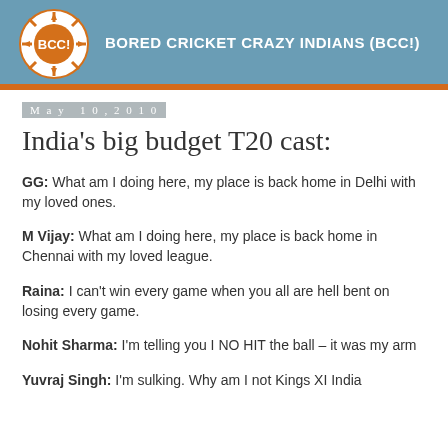BORED CRICKET CRAZY INDIANS (BCC!)
May 10, 2010
India's big budget T20 cast:
GG: What am I doing here, my place is back home in Delhi with my loved ones.
M Vijay: What am I doing here, my place is back home in Chennai with my loved league.
Raina: I can't win every game when you all are hell bent on losing every game.
Nohit Sharma: I'm telling you I NO HIT the ball – it was my arm
Yuvraj Singh: I'm sulking. Why am I not Kings XI India